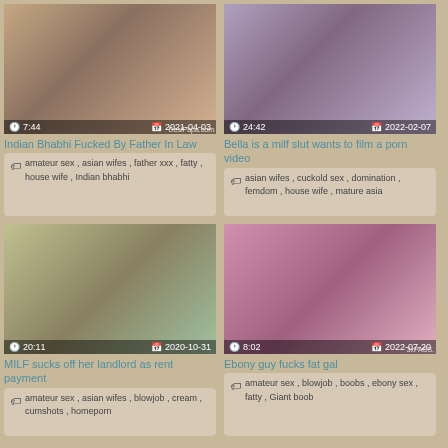[Figure (photo): Video thumbnail showing adult content, duration 7:44, date 2021-04-03, watermark DesiPapa.com]
Indian Bhabhi Fucked By Father In Law
amateur sex , asian wifes , father xxx , fatty , house wife , Indian bhabhi
[Figure (photo): Video thumbnail showing adult content, duration 24:42, date 2022-02-07]
Bella is a milf slut wants to film a porn video
asian wifes , cuckold sex , domination , femdom , house wife , mature asia
[Figure (photo): Video thumbnail showing adult content, duration 20:11, date 2020-10-31, watermark]
MILF sucks off her landlord as rent payment
amateur sex , asian wifes , blowjob , cream , cumshots , homeporn
[Figure (photo): Video thumbnail showing adult content, duration 8:02, date 2022-07-20, watermark 3xPASS]
Ebony guy fucks fat gal
amateur sex , blowjob , boobs , ebony sex , fatty , Giant boob